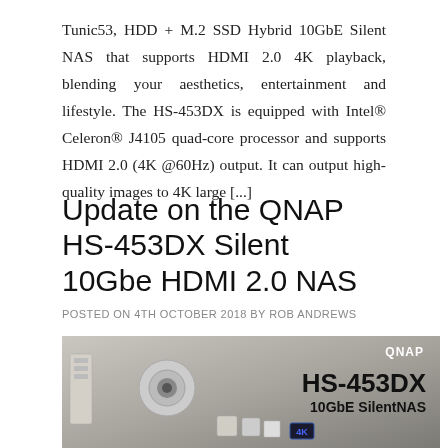Tunic53, HDD + M.2 SSD Hybrid 10GbE Silent NAS that supports HDMI 2.0 4K playback, blending your aesthetics, entertainment and lifestyle. The HS-453DX is equipped with Intel® Celeron® J4105 quad-core processor and supports HDMI 2.0 (4K @60Hz) output. It can output high-quality images to 4K large [...]
Update on the QNAP HS-453DX Silent 10Gbe HDMI 2.0 NAS
POSTED ON 4TH OCTOBER 2018 BY ROB ANDREWS
[Figure (photo): QNAP HS-453DX 10GbE SilentNAS product image showing the NAS device with various hardware components on a grey background. QNAP logo in top right, model name HS-453DX in bold, subtitle 10GbE SilentNAS.]